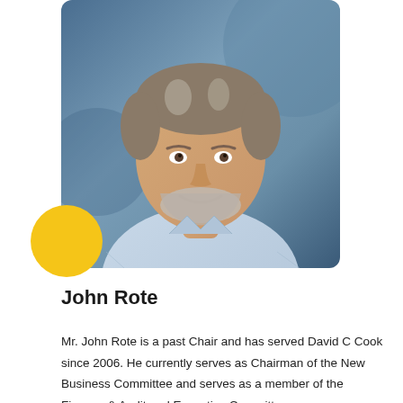[Figure (photo): Professional headshot of John Rote, a middle-aged man with grey-streaked hair and beard, smiling, wearing a light blue checkered shirt, against a blue blurred background. A yellow circle decorates the lower-left corner of the photo frame.]
John Rote
Mr. John Rote is a past Chair and has served David C Cook since 2006. He currently serves as Chairman of the New Business Committee and serves as a member of the Finance & Audit and Executive Committees.
He received his undergraduate degree from Penn State University and an MBA in Finance from the Krannert